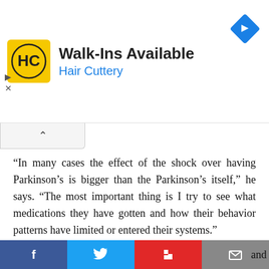[Figure (other): Hair Cuttery advertisement banner with yellow logo, 'Walk-Ins Available' headline, blue 'Hair Cuttery' subtitle, and a blue navigation diamond icon on the right]
“In many cases the effect of the shock over having Parkinson’s is bigger than the Parkinson’s itself, ” he says. “The most important thing is I try to see what medications they have gotten and how their behavior patterns have limited or entered their systems.”
Two phenomena he often sees are incorrect breathing, which harms the diaphragm and causes speech difficulties, and less usage of the hands because of trembling, which he says leads to memory problems.
[Figure (other): Social media share buttons: Facebook (blue), Twitter (light blue), Flipboard (red), Email (gray), with partial text 'and' visible at bottom right]